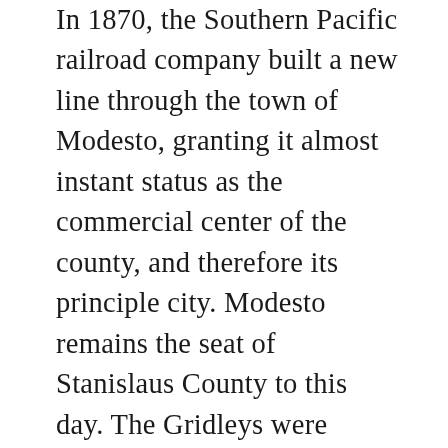In 1870, the Southern Pacific railroad company built a new line through the town of Modesto, granting it almost instant status as the commercial center of the county, and therefore its principle city. Modesto remains the seat of Stanislaus County to this day. The Gridleys were preparing to move their home and business from Paradise to a newly purchased plot in Modesto when Reuel tragically died at age 40.